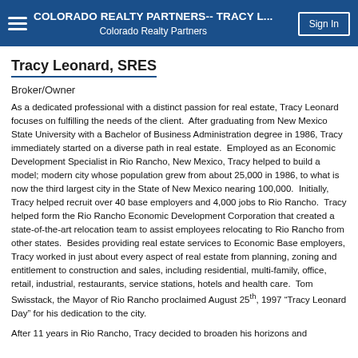COLORADO REALTY PARTNERS-- TRACY L... | Colorado Realty Partners | Sign In
Tracy Leonard, SRES
Broker/Owner
As a dedicated professional with a distinct passion for real estate, Tracy Leonard focuses on fulfilling the needs of the client. After graduating from New Mexico State University with a Bachelor of Business Administration degree in 1986, Tracy immediately started on a diverse path in real estate. Employed as an Economic Development Specialist in Rio Rancho, New Mexico, Tracy helped to build a model; modern city whose population grew from about 25,000 in 1986, to what is now the third largest city in the State of New Mexico nearing 100,000. Initially, Tracy helped recruit over 40 base employers and 4,000 jobs to Rio Rancho. Tracy helped form the Rio Rancho Economic Development Corporation that created a state-of-the-art relocation team to assist employees relocating to Rio Rancho from other states. Besides providing real estate services to Economic Base employers, Tracy worked in just about every aspect of real estate from planning, zoning and entitlement to construction and sales, including residential, multi-family, office, retail, industrial, restaurants, service stations, hotels and health care. Tom Swisstack, the Mayor of Rio Rancho proclaimed August 25th, 1997 “Tracy Leonard Day” for his dedication to the city.
After 11 years in Rio Rancho, Tracy decided to broaden his horizons and